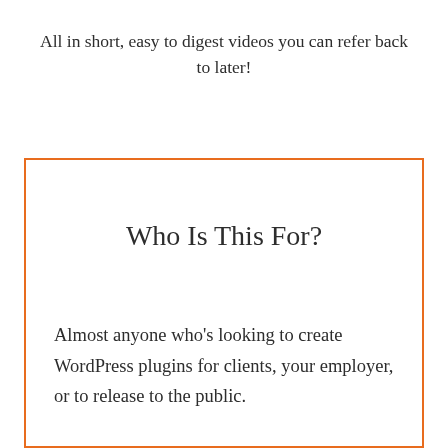All in short, easy to digest videos you can refer back to later!
Who Is This For?
Almost anyone who's looking to create WordPress plugins for clients, your employer, or to release to the public.